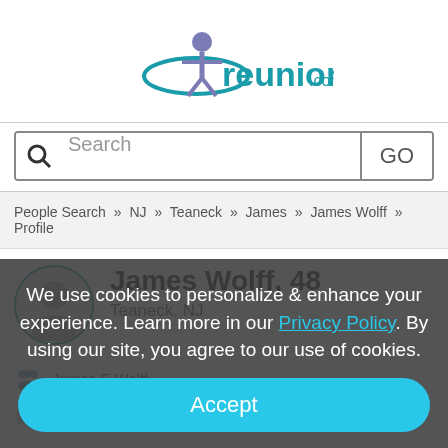[Figure (logo): Reunion.com logo with teal/purple figure and teal text]
Search GO
People Search » NJ » Teaneck » James » James Wolff » Profile
James Wolff, 48
Teaneck, NJ
James E Wolff
Owner at J And H Exterminating Service
We use cookies to personalize & enhance your experience. Learn more in our Privacy Policy. By using our site, you agree to our use of cookies.
Accept